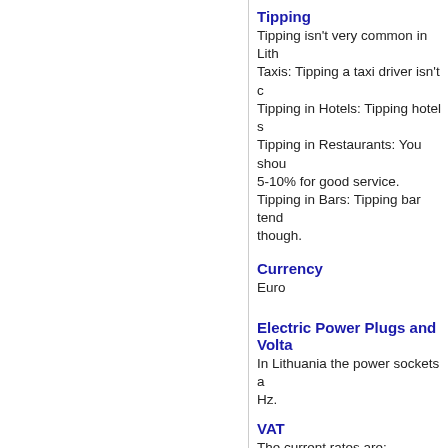Tipping
Tipping isn't very common in Lith... Taxis: Tipping a taxi driver isn't c... Tipping in Hotels: Tipping hotel s... Tipping in Restaurants: You shou... 5-10% for good service. Tipping in Bars: Tipping bar tend... though.
Currency
Euro
Electric Power Plugs and Volta...
In Lithuania the power sockets a... Hz.
VAT
The current rates are:
21% standard (goods and servic...
9% reduced (some domestic pas...
Language
The official language is Lithuania...
Telephone
Country code +370